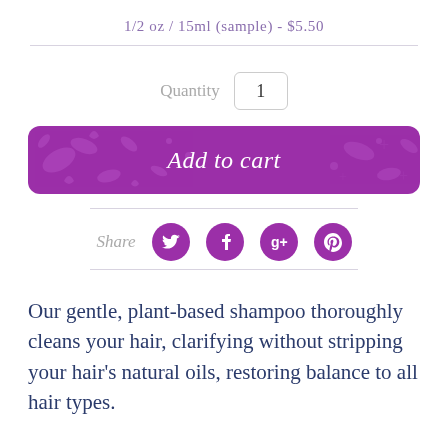1/2 oz / 15ml (sample) - $5.50
Quantity  1
Add to cart
Share
Our gentle, plant-based shampoo thoroughly cleans your hair, clarifying without stripping your hair's natural oils, restoring balance to all hair types.